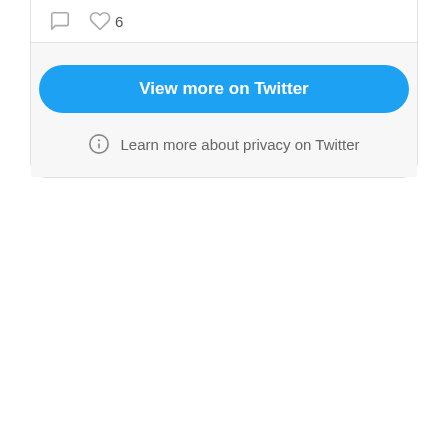[Figure (screenshot): Twitter embedded tweet widget showing comment and like icons (with count of 6), a 'View more on Twitter' button, and a 'Learn more about privacy on Twitter' info link.]
6
View more on Twitter
Learn more about privacy on Twitter